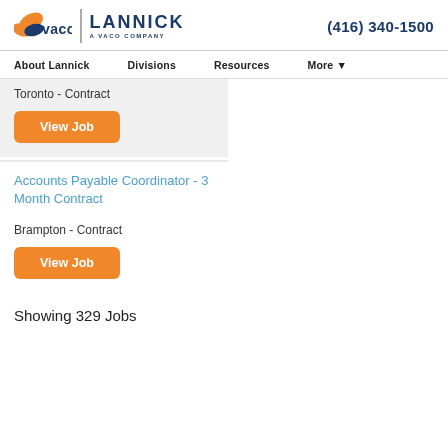vaco | LANNICK A VACO COMPANY (416) 340-1500
About Lannick  Divisions  Resources  More
Toronto - Contract
View Job
Accounts Payable Coordinator - 3 Month Contract
Brampton - Contract
View Job
Showing 329 Jobs